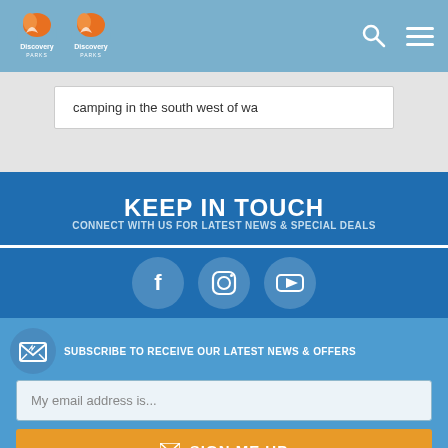[Figure (screenshot): Discovery Parks navigation header with logo (shown twice), search icon, and hamburger menu icon on a light blue background]
camping in the south west of wa
KEEP IN TOUCH
CONNECT WITH US FOR LATEST NEWS & SPECIAL DEALS
[Figure (infographic): Social media icons: Facebook, Instagram, YouTube in circular buttons]
SUBSCRIBE TO RECEIVE OUR LATEST NEWS & OFFERS
My email address is...
SIGN ME UP